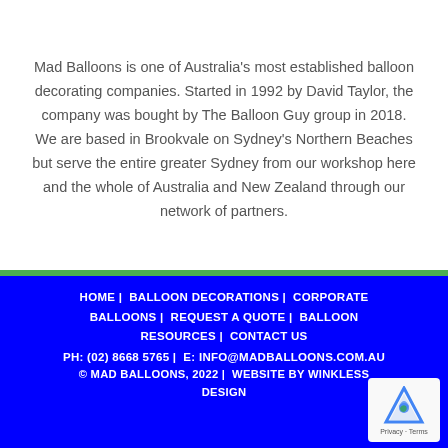Mad Balloons is one of Australia's most established balloon decorating companies. Started in 1992 by David Taylor, the company was bought by The Balloon Guy group in 2018. We are based in Brookvale on Sydney's Northern Beaches but serve the entire greater Sydney from our workshop here and the whole of Australia and New Zealand through our network of partners.
HOME | BALLOON DECORATIONS | CORPORATE BALLOONS | REQUEST A QUOTE | BALLOON RESOURCES | CONTACT US
PH: (02) 8668 5765 | E: INFO@MADBALLOONS.COM.AU
© MAD BALLOONS, 2022 | WEBSITE BY WINKLESS DESIGN